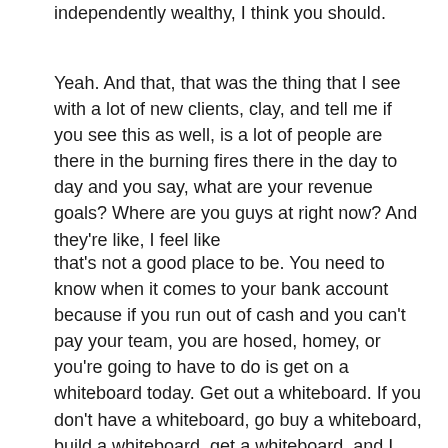independently wealthy, I think you should.
Yeah. And that, that was the thing that I see with a lot of new clients, clay, and tell me if you see this as well, is a lot of people are there in the burning fires there in the day to day and you say, what are your revenue goals? Where are you guys at right now? And they're like, I feel like
that's not a good place to be. You need to know when it comes to your bank account because if you run out of cash and you can't pay your team, you are hosed, homey, or you're going to have to do is get on a whiteboard today. Get out a whiteboard. If you don't have a whiteboard, go buy a whiteboard, build a whiteboard, get a whiteboard, and I want you to write down the financial goal that you have for yourself and your business. So I'll give an example. Elephant in the room, our men's grooming lounge. I can be very transparent with the listeners. We only want to have 4,000 members there. Okay? And we essentially already have 4,000 members and wha wha. What do you mean you don't want to grow the business? Exactly. Um, our business